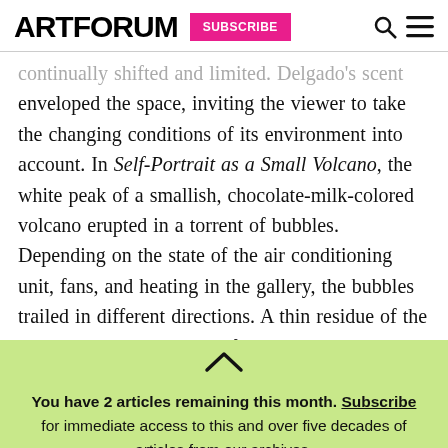ARTFORUM | SUBSCRIBE
continually shifted and limited. Delgado's scent enveloped the space, inviting the viewer to take the changing conditions of its environment into account. In Self-Portrait as a Small Volcano, the white peak of a smallish, chocolate-milk-colored volcano erupted in a torrent of bubbles. Depending on the state of the air conditioning unit, fans, and heating in the gallery, the bubbles trailed in different directions. A thin residue of the bubbles coated the sides of the volcano, making the otherwise matte
You have 2 articles remaining this month. Subscribe for immediate access to this and over five decades of articles from our archives.